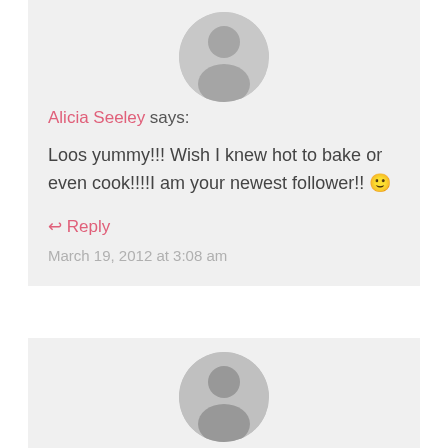[Figure (illustration): Grey circular avatar placeholder icon for user Alicia Seeley]
Alicia Seeley says:
Loos yummy!!! Wish I knew hot to bake or even cook!!!!I am your newest follower!! 🙂
↩ Reply
March 19, 2012 at 3:08 am
[Figure (illustration): Grey circular avatar placeholder icon for user Kate @ A Creative Cookie]
Kate @ A Creative Cookie says:
Yummy!! I love your blog - new follower